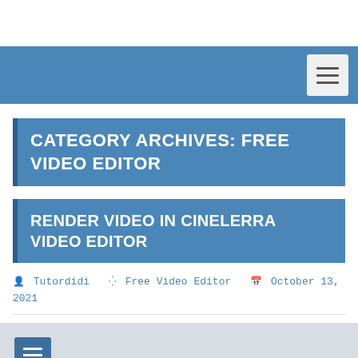CATEGORY ARCHIVES: FREE VIDEO EDITOR
RENDER VIDEO IN CINELERRA VIDEO EDITOR
Tutordidi  Free Video Editor  October 13, 2021
[Figure (screenshot): Thumbnail image placeholder with a hamburger menu button overlay]